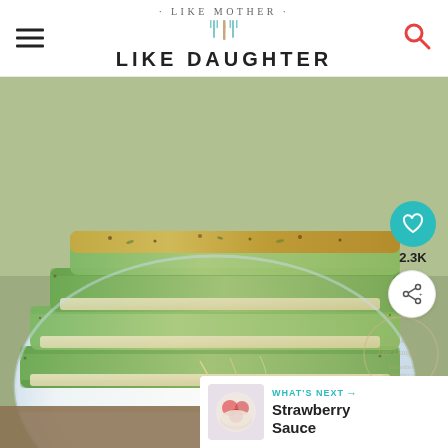Like Mother Like Daughter
[Figure (photo): Stack of baked zucchini sticks with parmesan cheese on a white plate, close-up food photograph]
2.3K
WHAT'S NEXT → Strawberry Sauce